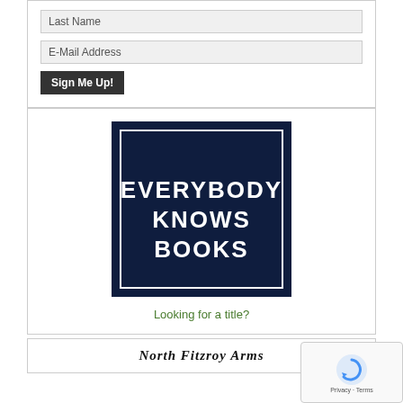Last Name
E-Mail Address
Sign Me Up!
[Figure (logo): Everybody Knows Books logo — dark navy square with white border and white text reading EVERYBODY KNOWS BOOKS]
Looking for a title?
North Fitzroy Arms
[Figure (logo): reCAPTCHA widget with rotating arrow icon and Privacy / Terms links]